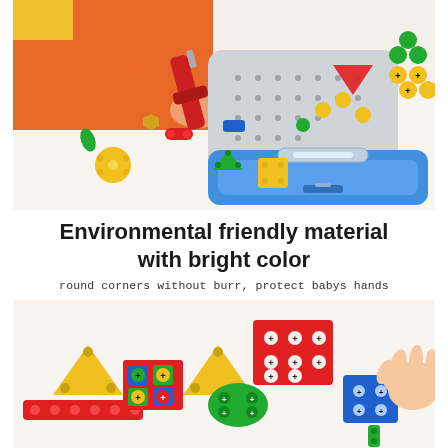[Figure (photo): Child holding a red toy drill, working with a colorful construction toy set with screws, nuts, and plastic shape pieces in red, yellow, green, blue spread on a white surface. A blue and white briefcase-style toy toolbox is open on the right.]
Environmental friendly material with bright color
round corners without burr, protect babys hands
[Figure (photo): Close-up of colorful plastic toy construction pieces — triangles, rectangles, hexagonal nuts and cross screws in red, yellow, green, blue — assembled together, with a baby's hand reaching toward the pieces from the right side.]